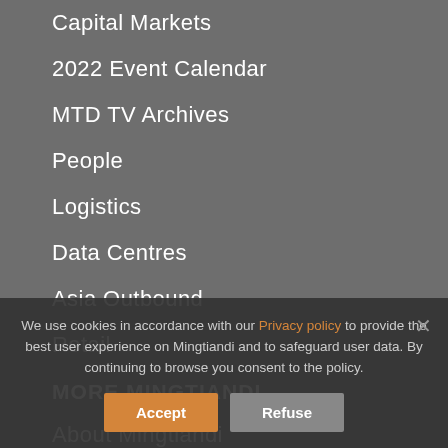Capital Markets
2022 Event Calendar
MTD TV Archives
People
Logistics
Data Centres
Asia Outbound
Retail
MORE MINGTIANDI
About Mingtiandi
Contact Mingtiandi
Mingtiandi Membership
Newsletter Subscription
Advertise
We use cookies in accordance with our Privacy policy to provide the best user experience on Mingtiandi and to safeguard user data. By continuing to browse you consent to the policy.